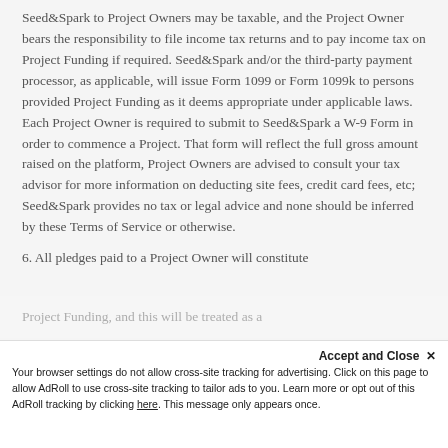Seed&Spark to Project Owners may be taxable, and the Project Owner bears the responsibility to file income tax returns and to pay income tax on Project Funding if required. Seed&Spark and/or the third-party payment processor, as applicable, will issue Form 1099 or Form 1099k to persons provided Project Funding as it deems appropriate under applicable laws. Each Project Owner is required to submit to Seed&Spark a W-9 Form in order to commence a Project. That form will reflect the full gross amount raised on the platform, Project Owners are advised to consult your tax advisor for more information on deducting site fees, credit card fees, etc; Seed&Spark provides no tax or legal advice and none should be inferred by these Terms of Service or otherwise.
6. All pledges paid to a Project Owner will constitute
Accept and Close ✕
Your browser settings do not allow cross-site tracking for advertising. Click on this page to allow AdRoll to use cross-site tracking to tailor ads to you. Learn more or opt out of this AdRoll tracking by clicking here. This message only appears once.